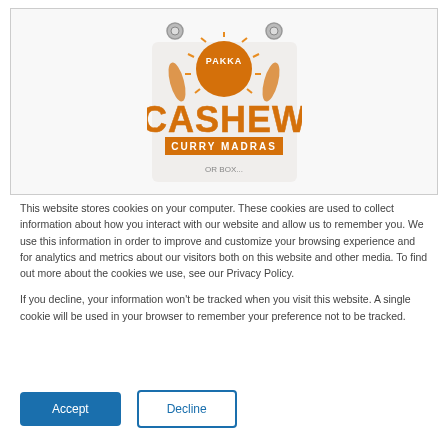[Figure (logo): Pakka Cashew Curry Madras logo — orange and white badge design with stylized figures and bold 'CASHEW' text, two metal grommets at top corners]
This website stores cookies on your computer. These cookies are used to collect information about how you interact with our website and allow us to remember you. We use this information in order to improve and customize your browsing experience and for analytics and metrics about our visitors both on this website and other media. To find out more about the cookies we use, see our Privacy Policy.
If you decline, your information won't be tracked when you visit this website. A single cookie will be used in your browser to remember your preference not to be tracked.